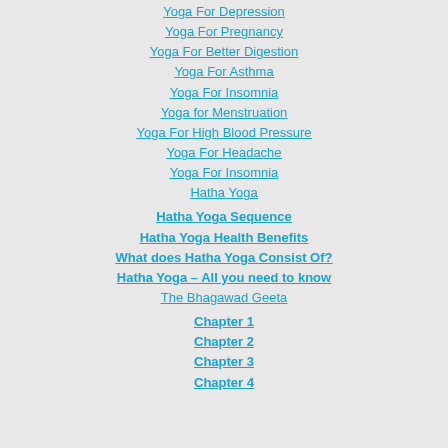Yoga For Depression
Yoga For Pregnancy
Yoga For Better Digestion
Yoga For Asthma
Yoga For Insomnia
Yoga for Menstruation
Yoga For High Blood Pressure
Yoga For Headache
Yoga For Insomnia
Hatha Yoga
Hatha Yoga Sequence
Hatha Yoga Health Benefits
What does Hatha Yoga Consist Of?
Hatha Yoga – All you need to know
The Bhagawad Geeta
Chapter 1
Chapter 2
Chapter 3
Chapter 4